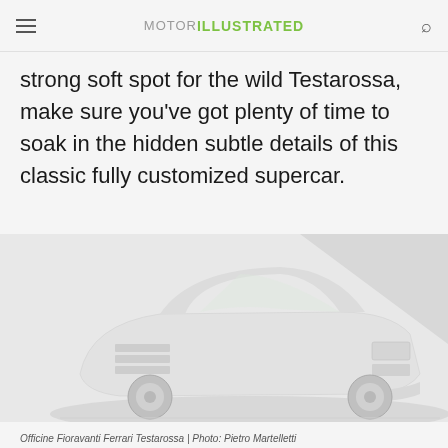MOTOR ILLUSTRATED
strong soft spot for the wild Testarossa, make sure you've got plenty of time to soak in the hidden subtle details of this classic fully customized supercar.
[Figure (photo): White Ferrari Testarossa (Officine Fioravanti) photographed from the rear three-quarter angle against a light grey background]
Officine Fioravanti Ferrari Testarossa | Photo: Pietro Martelletti